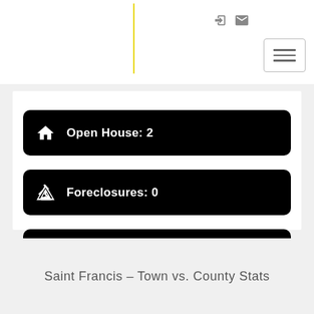[Figure (screenshot): Page header with login icon, mail icon, yellow vertical line, and hamburger menu button]
Open House: 2
Foreclosures: 0
Short Sales: 1
Saint Francis – Town vs. County Stats